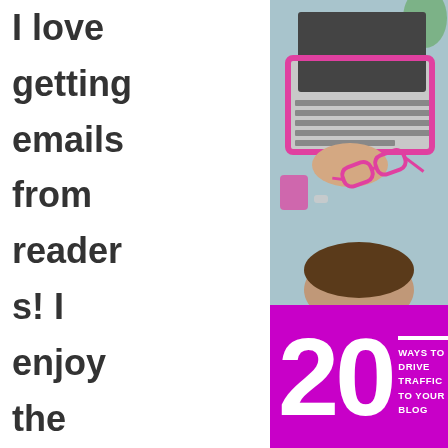I love getting emails from readers! I enjoy the social interaction as
[Figure (photo): Overhead view of a woman working on a laptop with pink glasses on the desk, pink accessories visible]
[Figure (infographic): Magenta/purple box with large white '20' and text 'WAYS TO DRIVE TRAFFIC TO YOUR BLOG' with a white horizontal line accent]